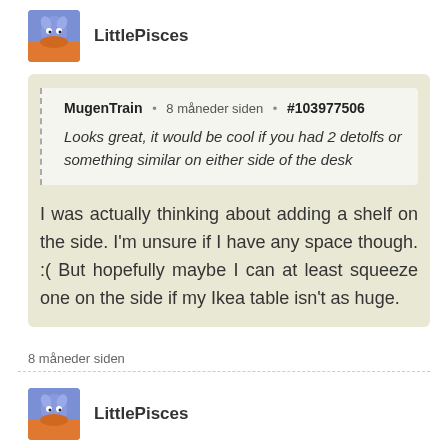LittlePisces
MugenTrain • 8 måneder siden • #103977506
Looks great, it would be cool if you had 2 detolfs or something similar on either side of the desk
I was actually thinking about adding a shelf on the side. I'm unsure if I have any space though. :( But hopefully maybe I can at least squeeze one on the side if my Ikea table isn't as huge.
8 måneder siden
LittlePisces